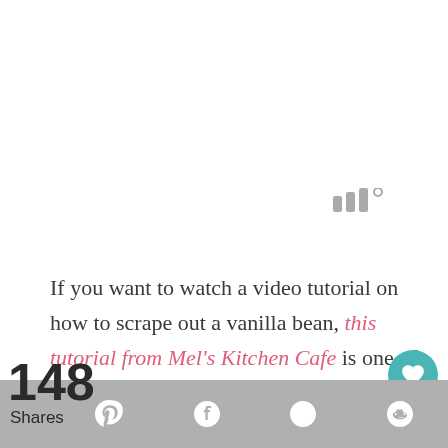[Figure (other): Weather or signal icon, three vertical bar shapes with a degree symbol, gray color, top right area]
If you want to watch a video tutorial on how to scrape out a vanilla bean, this tutorial from Mel's Kitchen Cafe is one of my favorites.
For this recipe, you will need 1-2 vanilla beans. One bean will give a subtle vanilla flavor, and two beans will give a strong vanilla flavor. My preference is to use 1 1/2 vanilla beans, or o[ne vanilla b...]
148 Shares [social share bar with Pinterest, Facebook, Twitter, Reddit icons]